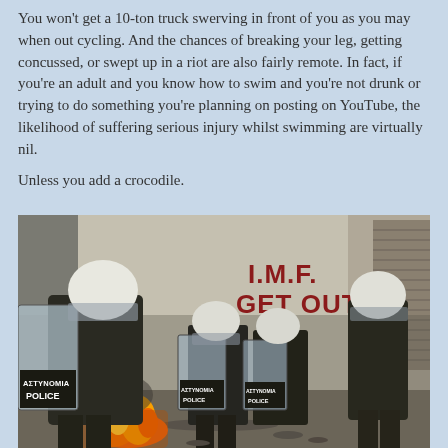You won't get a 10-ton truck swerving in front of you as you may when out cycling. And the chances of breaking your leg, getting concussed, or swept up in a riot are also fairly remote. In fact, if you're an adult and you know how to swim and you're not drunk or trying to do something you're planning on posting on YouTube, the likelihood of suffering serious injury whilst swimming are virtually nil.
Unless you add a crocodile.
[Figure (photo): Riot police in black gear carrying shields labeled 'ASTYNOMIA POLICE' standing in front of a wall with red graffiti reading 'I.M.F. GET OUT', with fire burning in the foreground]